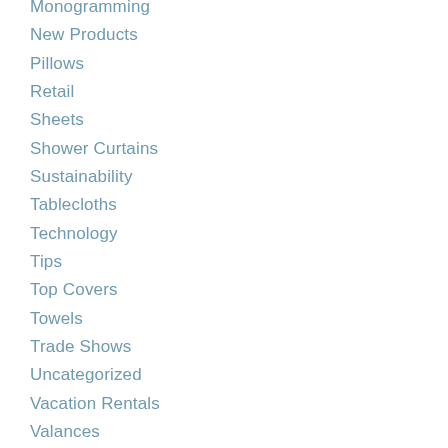Monogramming
New Products
Pillows
Retail
Sheets
Shower Curtains
Sustainability
Tablecloths
Technology
Tips
Top Covers
Towels
Trade Shows
Uncategorized
Vacation Rentals
Valances
Wholesale Products